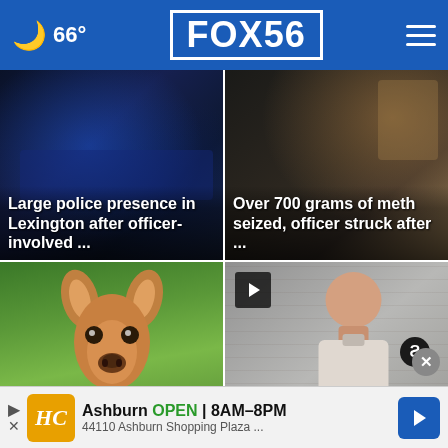66° FOX 56
[Figure (photo): Dark image of police lights/vehicles, news card for large police presence story]
Large police presence in Lexington after officer-involved ...
[Figure (photo): Dark image with warm tones, news card for meth seizure story]
Over 700 grams of meth seized, officer struck after ...
[Figure (photo): Close-up photo of a young deer (fawn) against green background]
'Zombie' deer confirmed in multiple counties
[Figure (photo): Mugshot-style photo of a man, KSP Perry County story, with video play button]
KSP: Perry County inmate custody
Ashburn OPEN 8AM–8PM 44110 Ashburn Shopping Plaza ...